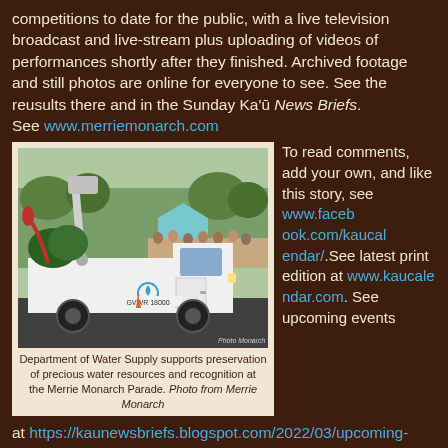competitions to date for the public, with a live television broadcast and live-stream plus uploading of videos of performances shortly after they finished. Archived footage and still photos are online for everyone to see. See the reusults there and in the Sunday Ka'ū News Briefs. See www.merriemonarch.com
[Figure (photo): A white utility truck labeled GVWR 18000 with a bucket arm, decorated with tropical plants, at the Merrie Monarch Parade with crowds in the background.]
Department of Water Supply supports preservation of precious water resources and recognition at the Merrie Monarch Parade. Photo from Merrie Monarch
To read comments, add your own, and like this story, see www.facebook.com/kaucalendar/.See latest print edition at www.kaucalendar.com. See upcoming events at https://kaunewsbriefs.blogspot.com/2022/03/upcoming-events-for-kau-and-volcano.